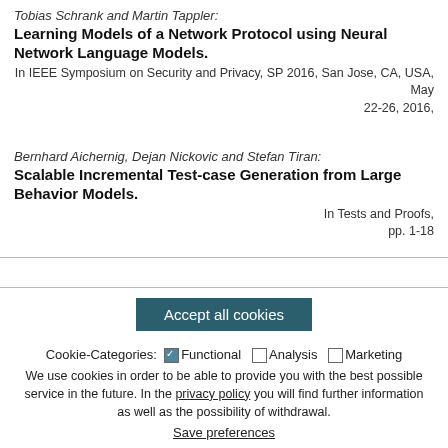Tobias Schrank and Martin Tappler:
Learning Models of a Network Protocol using Neural Network Language Models.
In IEEE Symposium on Security and Privacy, SP 2016, San Jose, CA, USA, May 22-26, 2016,
Bernhard Aichernig, Dejan Nickovic and Stefan Tiran:
Scalable Incremental Test-case Generation from Large Behavior Models.
In Tests and Proofs, pp. 1-18
Accept all cookies
Cookie-Categories: ☑ Functional ☐ Analysis ☐ Marketing
We use cookies in order to be able to provide you with the best possible service in the future. In the privacy policy you will find further information as well as the possibility of withdrawal.
Save preferences